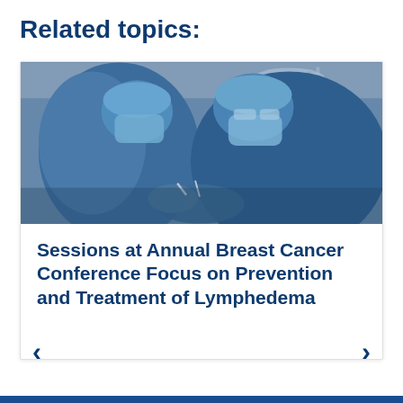Related topics:
[Figure (photo): Two surgeons in blue surgical gowns, masks, and caps performing an operation in an operating room. The surgeons are leaning over a patient, focused on the procedure.]
Sessions at Annual Breast Cancer Conference Focus on Prevention and Treatment of Lymphedema